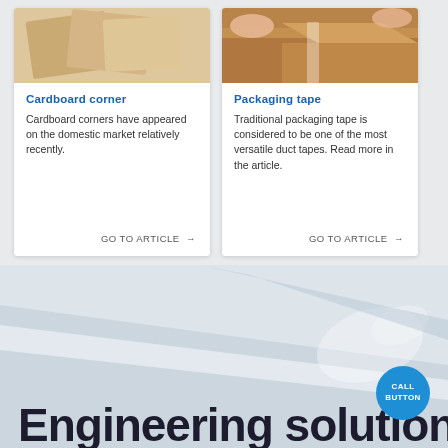[Figure (photo): Cardboard corner protectors on beige background]
Cardboard corner
Cardboard corners have appeared on the domestic market relatively recently.
GO TO ARTICLE →
[Figure (photo): Person applying packaging tape to a cardboard box]
Packaging tape
Traditional packaging tape is considered to be one of the most versatile duct tapes. Read more in the article.
GO TO ARTICLE →
[Figure (illustration): Blue and grey diagonal wave banner background with Engineering solutions title and CALL BUTTON circle]
Engineering solutions